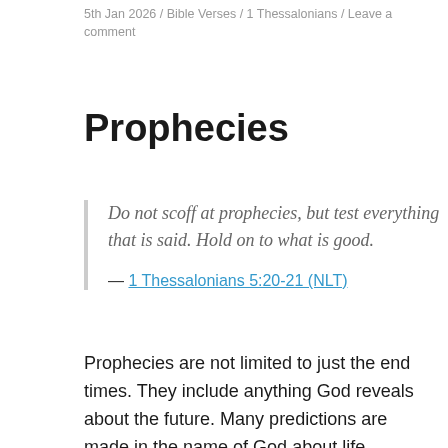5th Jan 2026 / Bible Verses / 1 Thessalonians / Leave a comment
Prophecies
Do not scoff at prophecies, but test everything that is said. Hold on to what is good.
— 1 Thessalonians 5:20-21 (NLT)
Prophecies are not limited to just the end times. They include anything God reveals about the future. Many predictions are made in the name of God about life. Unless they are clearly verified by God's Word, accept them with